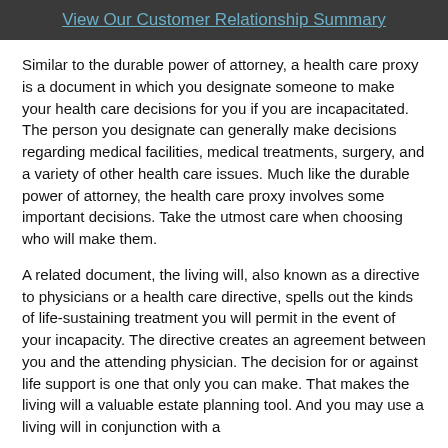View Our Customer Relationship Summary
Similar to the durable power of attorney, a health care proxy is a document in which you designate someone to make your health care decisions for you if you are incapacitated. The person you designate can generally make decisions regarding medical facilities, medical treatments, surgery, and a variety of other health care issues. Much like the durable power of attorney, the health care proxy involves some important decisions. Take the utmost care when choosing who will make them.
A related document, the living will, also known as a directive to physicians or a health care directive, spells out the kinds of life-sustaining treatment you will permit in the event of your incapacity. The directive creates an agreement between you and the attending physician. The decision for or against life support is one that only you can make. That makes the living will a valuable estate planning tool. And you may use a living will in conjunction with a